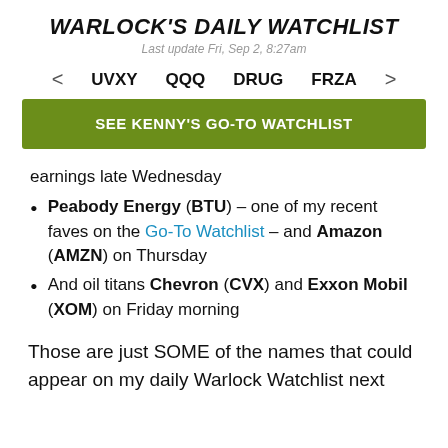WARLOCK'S DAILY WATCHLIST
Last update Fri, Sep 2, 8:27am
< UVXY QQQ DRUG FRZA >
SEE KENNY'S GO-TO WATCHLIST
earnings late Wednesday
Peabody Energy (BTU) – one of my recent faves on the Go-To Watchlist – and Amazon (AMZN) on Thursday
And oil titans Chevron (CVX) and Exxon Mobil (XOM) on Friday morning
Those are just SOME of the names that could appear on my daily Warlock Watchlist next